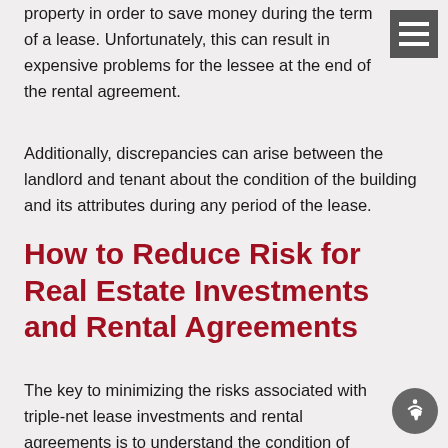…ance of the poor quality workmanship carried out on the property in order to save money during the term of a lease. Unfortunately, this can result in expensive problems for the lessee at the end of the rental agreement.
Additionally, discrepancies can arise between the landlord and tenant about the condition of the building and its attributes during any period of the lease.
How to Reduce Risk for Real Estate Investments and Rental Agreements
The key to minimizing the risks associated with triple-net lease investments and rental agreements is to understand the condition of the building as a whole throughout the entire term of the lease or rental agreement. This can be